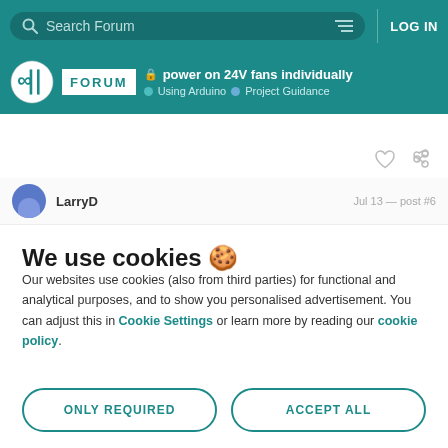Search Forum | LOG IN
power on 24V fans individually
Using Arduino › Project Guidance
LarryD — post #6
We use cookies 🍪
Our websites use cookies (also from third parties) for functional and analytical purposes, and to show you personalised advertisement. You can adjust this in Cookie Settings or learn more by reading our cookie policy.
ONLY REQUIRED
ACCEPT ALL